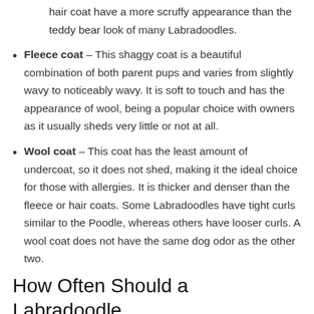hair coat have a more scruffy appearance than the teddy bear look of many Labradoodles.
Fleece coat – This shaggy coat is a beautiful combination of both parent pups and varies from slightly wavy to noticeably wavy. It is soft to touch and has the appearance of wool, being a popular choice with owners as it usually sheds very little or not at all.
Wool coat – This coat has the least amount of undercoat, so it does not shed, making it the ideal choice for those with allergies. It is thicker and denser than the fleece or hair coats. Some Labradoodles have tight curls similar to the Poodle, whereas others have looser curls. A wool coat does not have the same dog odor as the other two.
How Often Should a Labradoodle Be Groomed?